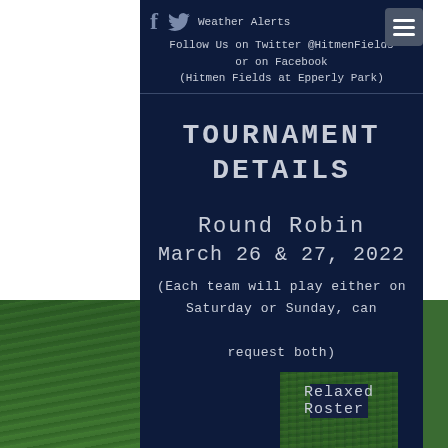Weather Alerts
Follow Us on Twitter @HitmenFields
or on Facebook
(Hitmen Fields at Epperly Park)
TOURNAMENT DETAILS
Round Robin
March 26 & 27, 2022
(Each team will play either on Saturday or Sunday, can request both)
Relaxed Roster